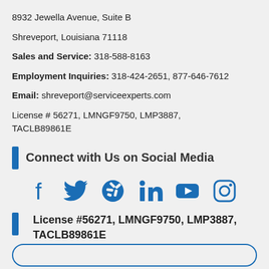8932 Jewella Avenue, Suite B
Shreveport, Louisiana 71118
Sales and Service: 318-588-8163
Employment Inquiries: 318-424-2651, 877-646-7612
Email: shreveport@serviceexperts.com
License # 56271, LMNGF9750, LMP3887, TACLB89861E
Connect with Us on Social Media
[Figure (infographic): Social media icons: Facebook, Twitter, Yelp, LinkedIn, YouTube, Instagram — all in blue]
License #56271, LMNGF9750, LMP3887, TACLB89861E